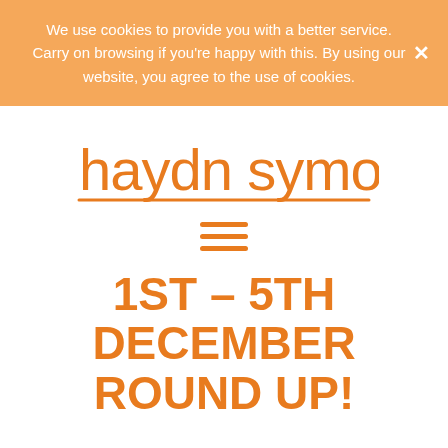We use cookies to provide you with a better service. Carry on browsing if you're happy with this. By using our website, you agree to the use of cookies.
[Figure (logo): Haydn Symons logo in orange handwritten/script font with underline]
[Figure (other): Hamburger menu icon — three horizontal orange lines]
1ST – 5TH DECEMBER ROUND UP!
As a few things have been happening in the last week or so, I thought it would be beneficial